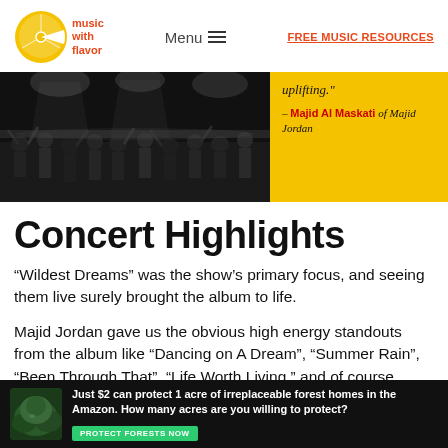[Figure (logo): Music with Flavor logo — orange citrus slice icon with red 'music with flavor' text]
Menu  FREE MUSIC RESOURCES
[Figure (photo): Black and white concert photo of audience with raised hands, overlapping with yellow quote box reading 'uplifting.' attributed to Majid Al Maskati of Majid Jordan]
Concert Highlights
“Wildest Dreams” was the show’s primary focus, and seeing them live surely brought the album to life.
Majid Jordan gave us the obvious high energy standouts from the album like “Dancing on A Dream”, “Summer Rain”, “Been Through That”, “Life Worth Living,” and of course “Waves of Blue”
[Figure (photo): Advertisement banner: dark background with nature/forest photo, text reading 'Just $2 can protect 1 acre of irreplaceable forest homes in the Amazon. How many acres are you willing to protect?' with green 'PROTECT FORESTS NOW' button]